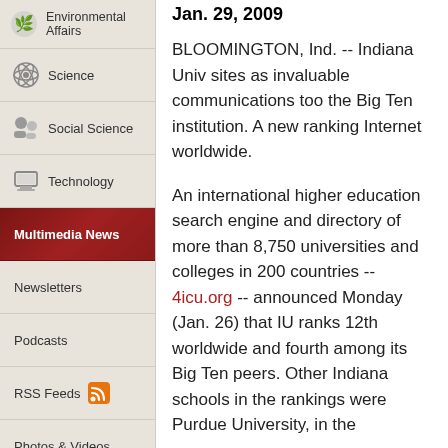Environmental Affairs
Science
Social Science
Technology
Multimedia News
Newsletters
Podcasts
RSS Feeds
Photos & Videos
Jan. 29, 2009
BLOOMINGTON, Ind. -- Indiana University sites as invaluable communications tools for the Big Ten institution. A new ranking Internet worldwide.

An international higher education search engine and directory of more than 8,750 universities and colleges in 200 countries -- 4icu.org -- announced Monday (Jan. 26) that IU ranks 12th worldwide and fourth among its Big Ten peers. Other Indiana schools in the rankings were Purdue University, in the ...